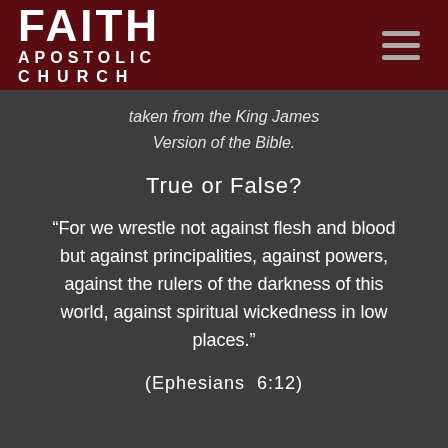FAITH APOSTOLIC CHURCH
taken from the King James Version of the Bible.
True or False?
“For we wrestle not against flesh and blood but against principalities, against powers, against the rulers of the darkness of this world, against spiritual wickedness in low places.”
(Ephesians 6:12)